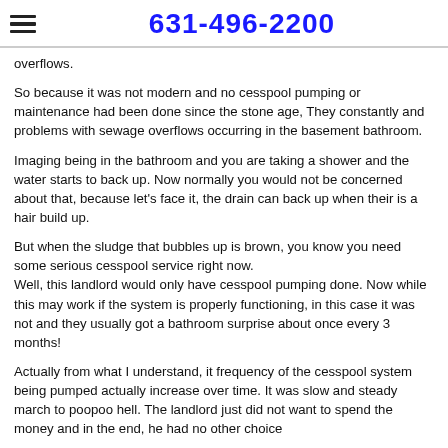631-496-2200
overflows.
So because it was not modern and no cesspool pumping or maintenance had been done since the stone age, They constantly and problems with sewage overflows occurring in the basement bathroom.
Imaging being in the bathroom and you are taking a shower and the water starts to back up. Now normally you would not be concerned about that, because let's face it, the drain can back up when their is a hair build up.
But when the sludge that bubbles up is brown, you know you need some serious cesspool service right now.
Well, this landlord would only have cesspool pumping done. Now while this may work if the system is properly functioning, in this case it was not and they usually got a bathroom surprise about once every 3 months!
Actually from what I understand, it frequency of the cesspool system being pumped actually increase over time. It was slow and steady march to poopoo hell. The landlord just did not want to spend the money and in the end, he had no other choice
Basically the overflow exit was blocked by corrosion and other matter after a video inspection was done. At this point you are looking at some serious